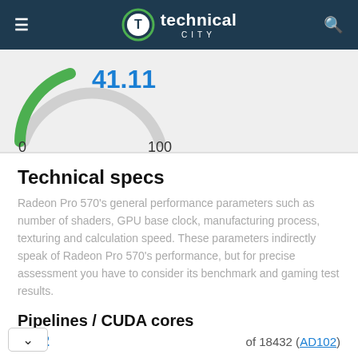technical city
[Figure (other): Partial gauge/dial showing value 41.11 with green needle, scale from 0 to 100]
Technical specs
Radeon Pro 570's general performance parameters such as number of shaders, GPU base clock, manufacturing process, texturing and calculation speed. These parameters indirectly speak of Radeon Pro 570's performance, but for precise assessment you have to consider its benchmark and gaming test results.
Pipelines / CUDA cores
1792  of 18432 (AD102)